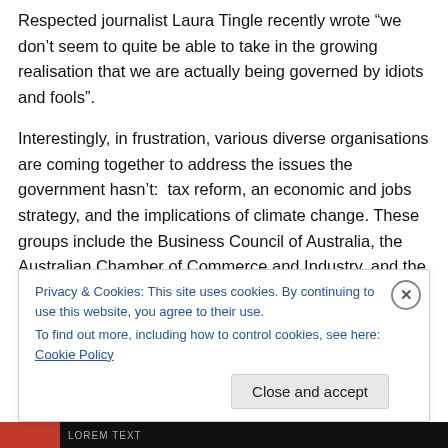Respected journalist Laura Tingle recently wrote “we don’t seem to quite be able to take in the growing realisation that we are actually being governed by idiots and fools”.
Interestingly, in frustration, various diverse organisations are coming together to address the issues the government hasn’t:  tax reform, an economic and jobs strategy, and the implications of climate change. These groups include the Business Council of Australia, the Australian Chamber of Commerce and Industry, and the Australian Council of
Privacy & Cookies: This site uses cookies. By continuing to use this website, you agree to their use.
To find out more, including how to control cookies, see here: Cookie Policy
Close and accept